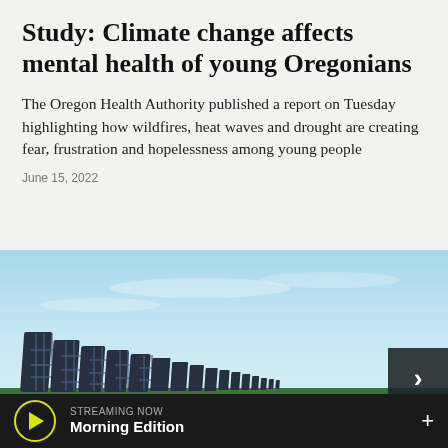Study: Climate change affects mental health of young Oregonians
The Oregon Health Authority published a report on Tuesday highlighting how wildfires, heat waves and drought are creating fear, frustration and hopelessness among young people
June 15, 2022
[Figure (illustration): Illustration of solar panels and a wind turbine against a blue sky, representing renewable energy]
STREAMING NOW  Morning Edition